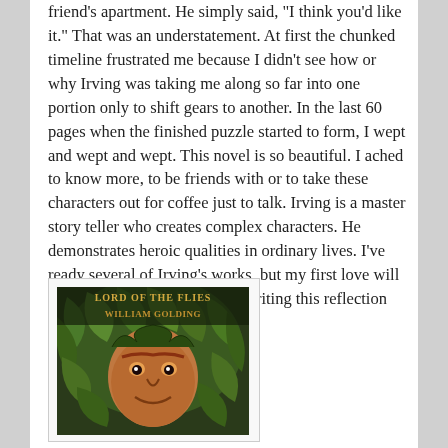friend's apartment. He simply said, "I think you'd like it." That was an understatement. At first the chunked timeline frustrated me because I didn't see how or why Irving was taking me along so far into one portion only to shift gears to another. In the last 60 pages when the finished puzzle started to form, I wept and wept and wept. This novel is so beautiful. I ached to know more, to be friends with or to take these characters out for coffee just to talk. Irving is a master story teller who creates complex characters. He demonstrates heroic qualities in ordinary lives. I've ready several of Irving's works, but my first love will always be Owen Meany. Just writing this reflection inspires me to read it again!
[Figure (illustration): Book cover of 'Lord of the Flies' by William Golding, showing a painted illustration of a face surrounded by jungle foliage in green and brown tones, with the title text at the top.]